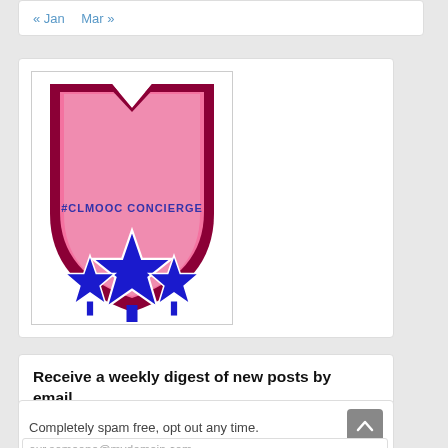« Jan   Mar »
[Figure (logo): CLMOOC Concierge badge — a pink shield with dark red/maroon border containing the text '#CLMOOC CONCIERGE' and three blue stars at the bottom]
Receive a weekly digest of new posts by email.
Completely spam free, opt out any time.